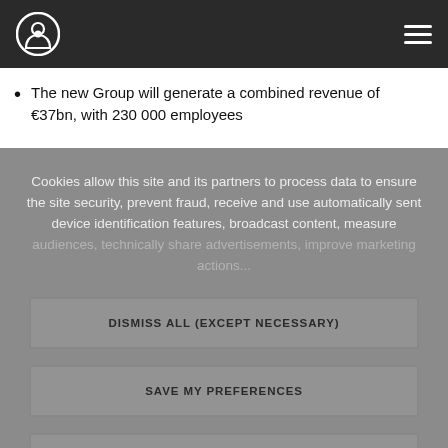Navigation bar with logo and hamburger menu
The new Group will generate a combined revenue of €37bn, with 230 000 employees
Cookies allow this site and its partners to process data to ensure the site security, prevent fraud, receive and use automatically sent device identification features, broadcast content, measure audiences, technically share advertisements, improve marketing actions...
DISMISS ALL (EXCEPT NECESSARY)
SAVE MY PREFERENCES
ALLOW ALL